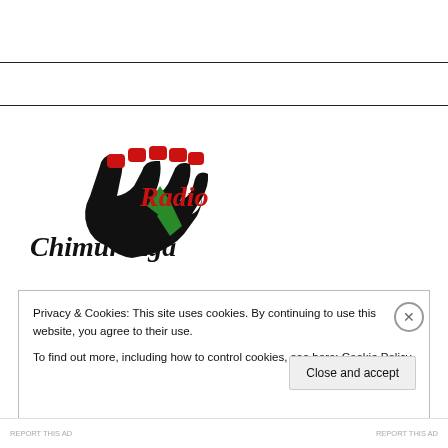[Figure (logo): Radio Chimurenga logo: a raised fist in black, red, and green colors with 'Radio' in red cursive script and 'Chimurenga' in black cursive script below]
Privacy & Cookies: This site uses cookies. By continuing to use this website, you agree to their use.
To find out more, including how to control cookies, see here: Cookie Policy
Close and accept